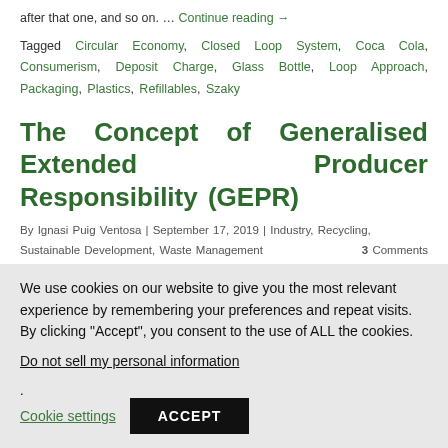after that one, and so on. … Continue reading →
Tagged Circular Economy, Closed Loop System, Coca Cola, Consumerism, Deposit Charge, Glass Bottle, Loop Approach, Packaging, Plastics, Refillables, Szaky
The Concept of Generalised Extended Producer Responsibility (GEPR)
By Ignasi Puig Ventosa | September 17, 2019 | Industry, Recycling, Sustainable Development, Waste Management 3 Comments
The notion of Extended Producer Responsibility (EPR) has been part of the
We use cookies on our website to give you the most relevant experience by remembering your preferences and repeat visits. By clicking "Accept", you consent to the use of ALL the cookies. Do not sell my personal information.
Cookie settings
ACCEPT